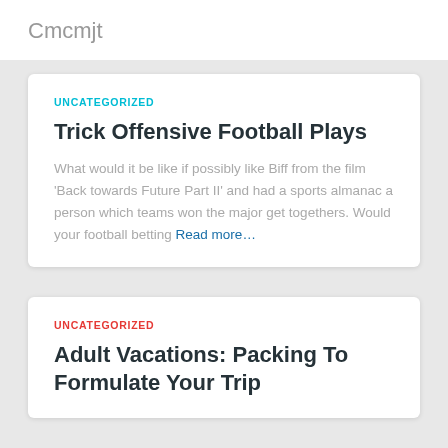Cmcmjt
UNCATEGORIZED
Trick Offensive Football Plays
What would it be like if possibly like Biff from the film 'Back towards Future Part II' and had a sports almanac a person which teams won the major get togethers. Would your football betting Read more…
UNCATEGORIZED
Adult Vacations: Packing To Formulate Your Trip